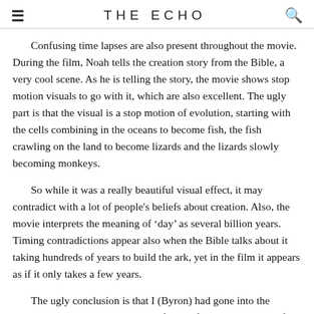THE ECHO
Confusing time lapses are also present throughout the movie. During the film, Noah tells the creation story from the Bible, a very cool scene. As he is telling the story, the movie shows stop motion visuals to go with it, which are also excellent. The ugly part is that the visual is a stop motion of evolution, starting with the cells combining in the oceans to become fish, the fish crawling on the land to become lizards and the lizards slowly becoming monkeys.
So while it was a really beautiful visual effect, it may contradict with a lot of people's beliefs about creation. Also, the movie interprets the meaning of ‘day’ as several billion years. Timing contradictions appear also when the Bible talks about it taking hundreds of years to build the ark, yet in the film it appears as if it only takes a few years.
The ugly conclusion is that I (Byron) had gone into the theater with massive expectations for this film. To me, the perfect Christian film would have had awesome acting and stuck to the source